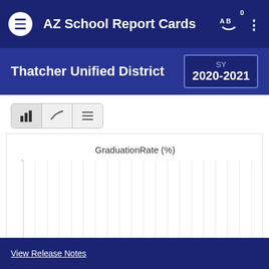AZ School Report Cards
Thatcher Unified District
SY 2020-2021
[Figure (bar-chart): Bar chart showing Graduation Rate (%) — bars appear empty or no data visible for the selected filters. Chart area shows vertical gridlines with no rendered bars.]
View Release Notes